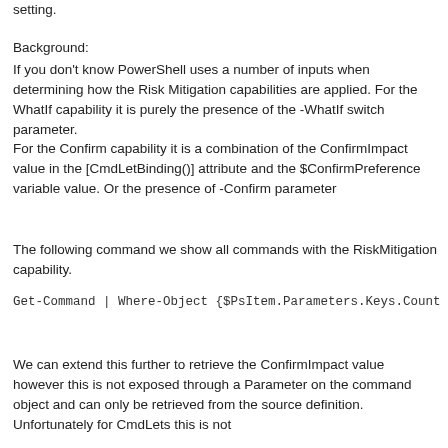setting.
Background:
If you don't know PowerShell uses a number of inputs when determining how the Risk Mitigation capabilities are applied. For the WhatIf capability it is purely the presence of the -WhatIf switch parameter.
For the Confirm capability it is a combination of the ConfirmImpact value in the [CmdLetBinding()] attribute and the $ConfirmPreference variable value. Or the presence of -Confirm parameter
The following command we show all commands with the RiskMitigation capability.
Get-Command | Where-Object {$PsItem.Parameters.Keys.Count
We can extend this further to retrieve the ConfirmImpact value however this is not exposed through a Parameter on the command object and can only be retrieved from the source definition. Unfortunately for CmdLets this is not